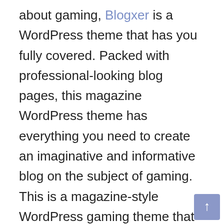about gaming, Blogxer is a WordPress theme that has you fully covered. Packed with professional-looking blog pages, this magazine WordPress theme has everything you need to create an imaginative and informative blog on the subject of gaming. This is a magazine-style WordPress gaming theme that allows you to put hordes of content on one page.
This special WordPress gaming theme offers you all the right tools to create a full-fledged gaming community. In addition, if you create fantastic game sites, this WordPress gaming theme offers you the best of both worlds: easy to use and easy-